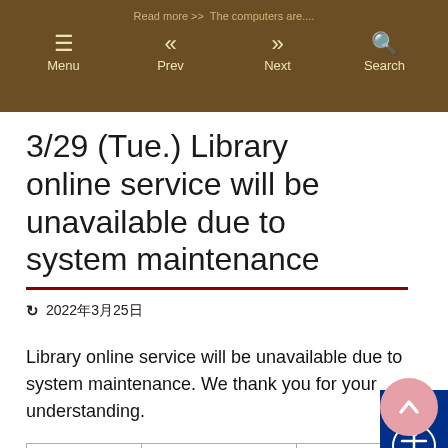Read more >> The computers are....  Menu  Prev  Next  Search
3/29 (Tue.) Library online service will be unavailable due to system maintenance
2022年3月25日
Library online service will be unavailable due to system maintenance. We thank you for your understanding.
| Date | Time | Service to suspend |
| --- | --- | --- |
|  |  |  |